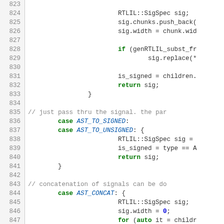[Figure (screenshot): Source code listing lines 823-853, C++ code with syntax highlighting. Line numbers in left gutter, keywords in green bold, identifiers in blue italic, numerals in blue bold, comments in gray.]